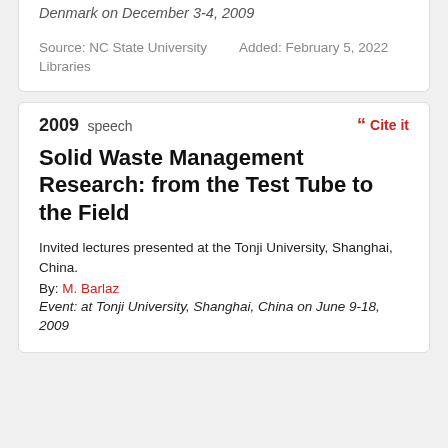Denmark on December 3-4, 2009
Source: NC State University Libraries	Added: February 5, 2022
2009 speech
Solid Waste Management Research: from the Test Tube to the Field
Invited lectures presented at the Tonji University, Shanghai, China.
By: M. Barlaz
Event: at Tonji University, Shanghai, China on June 9-18, 2009